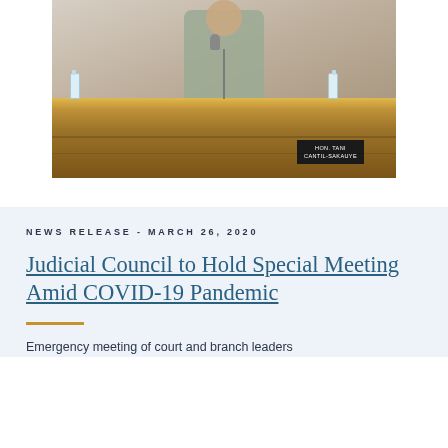[Figure (photo): Person seated at a wooden judicial bench with a nameplate reading 'HON. TANI CANTIL-SAKAUYE', with two water bottles and a microphone visible]
NEWS RELEASE - MARCH 26, 2020
Judicial Council to Hold Special Meeting Amid COVID-19 Pandemic
Emergency meeting of court and branch leaders